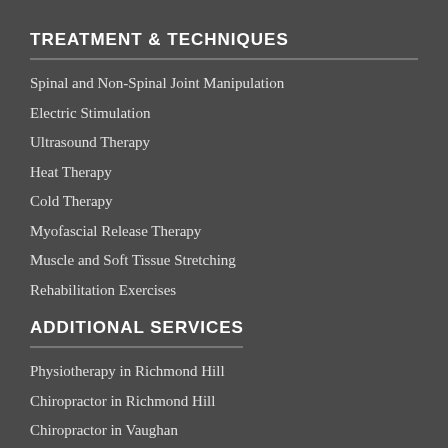TREATMENT & TECHNIQUES
Spinal and Non-Spinal Joint Manipulation
Electric Stimulation
Ultrasound Therapy
Heat Therapy
Cold Therapy
Myofascial Release Therapy
Muscle and Soft Tissue Stretching
Rehabilitation Exercises
ADDITIONAL SERVICES
Physiotherapy in Richmond Hill
Chiropractor in Richmond Hill
Chiropractor in Vaughan